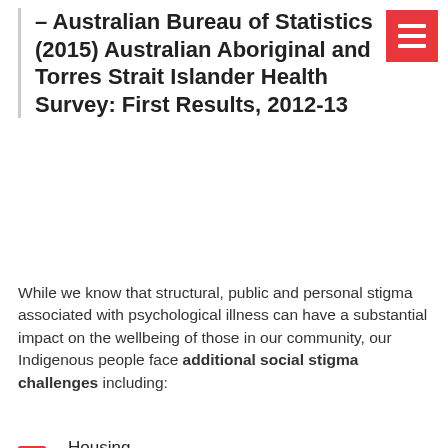– Australian Bureau of Statistics (2015) Australian Aboriginal and Torres Strait Islander Health Survey: First Results, 2012-13
While we know that structural, public and personal stigma associated with psychological illness can have a substantial impact on the wellbeing of those in our community, our Indigenous people face additional social stigma challenges including:
Housing
Education
Health
Training
Incarceration